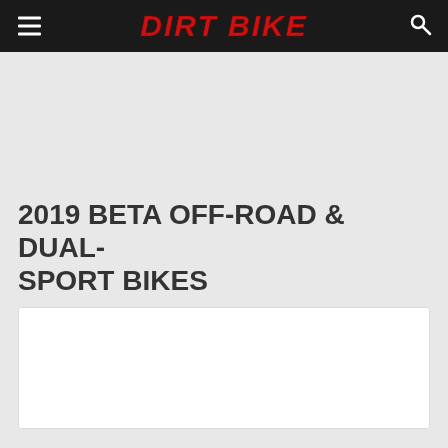DIRT BIKE
2019 BETA OFF-ROAD & DUAL-SPORT BIKES
[Figure (photo): White rectangular image placeholder below the article title]